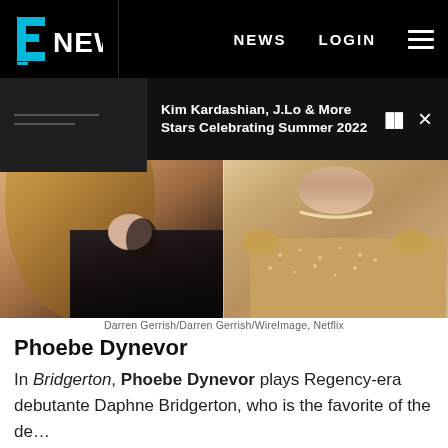E! NEWS | NEWS | LOGIN
Kim Kardashian, J.Lo & More Stars Celebrating Summer 2022
[Figure (photo): Side-by-side composite photo: left half shows a woman with long blonde wavy hair wearing a black leather jacket; right half shows a woman wearing a glittering gold/beige embroidered gown with a diamond necklace]
Darren Gerrish/Darren Gerrish/WireImage, Netflix
Phoebe Dynevor
In Bridgerton, Phoebe Dynevor plays Regency-era debutante Daphne Bridgerton, who is the favorite of the de...